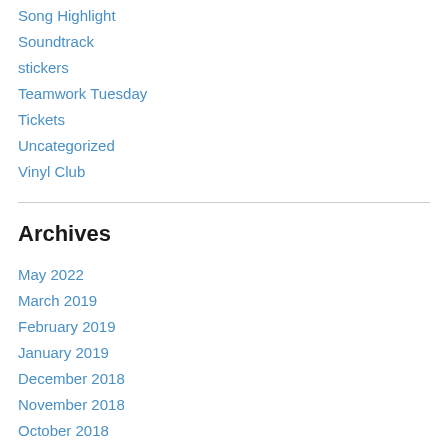Song Highlight
Soundtrack
stickers
Teamwork Tuesday
Tickets
Uncategorized
Vinyl Club
Archives
May 2022
March 2019
February 2019
January 2019
December 2018
November 2018
October 2018
September 2018
August 2018